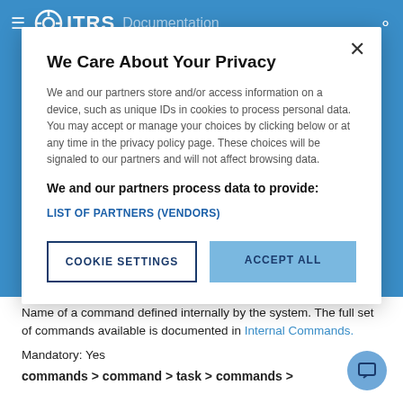ITRS Documentation
We Care About Your Privacy
We and our partners store and/or access information on a device, such as unique IDs in cookies to process personal data. You may accept or manage your choices by clicking below or at any time in the privacy policy page. These choices will be signaled to our partners and will not affect browsing data.
We and our partners process data to provide:
LIST OF PARTNERS (VENDORS)
COOKIE SETTINGS
ACCEPT ALL
Name of a command defined internally by the system. The full set of commands available is documented in Internal Commands.
Mandatory: Yes
commands > command > task > commands >